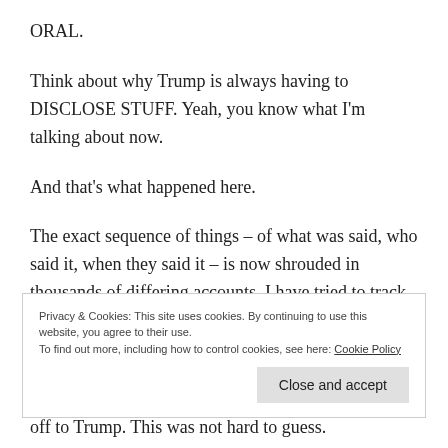ORAL.
Think about why Trump is always having to DISCLOSE STUFF. Yeah, you know what I'm talking about now.
And that's what happened here.
The exact sequence of things – of what was said, who said it, when they said it – is now shrouded in thousands of differing accounts. I have tried to track down exactly when it was revealed that Obama gave Trump some
Privacy & Cookies: This site uses cookies. By continuing to use this website, you agree to their use.
To find out more, including how to control cookies, see here: Cookie Policy
off to Trump. This was not hard to guess.